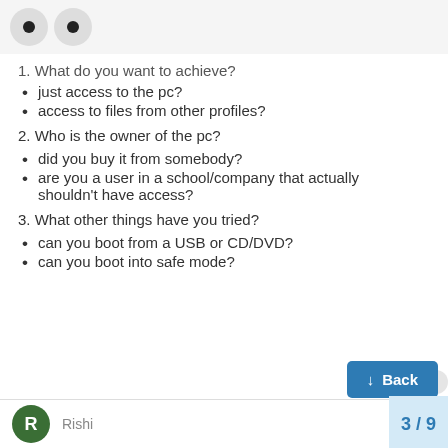[Figure (other): Two circular avatar icons with dots (eyes) on a light grey background header bar]
1. What do you want to achieve?
just access to the pc?
access to files from other profiles?
2. Who is the owner of the pc?
did you buy it from somebody?
are you a user in a school/company that actually shouldn't have access?
3. What other things have you tried?
can you boot from a USB or CD/DVD?
can you boot into safe mode?
Rishi   3 / 9